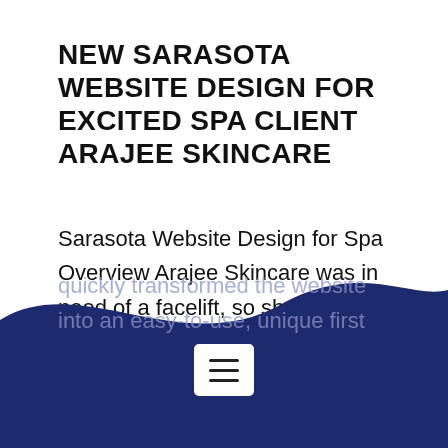NEW SARASOTA WEBSITE DESIGN FOR EXCITED SPA CLIENT ARAJEE SKINCARE
Sarasota Website Design for Spa Overview Arajee Skincare was in need of a facelift, so she called Lead Nerds. This Sarasota Website design needed to reflect the uniqueness of this local establishment. We were able to listen to her needs and quickly transformed the website into an easy-to-use, unique first